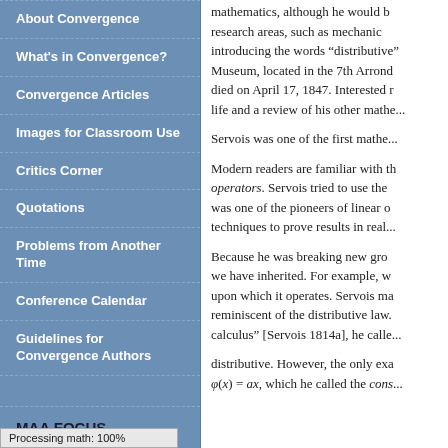About Convergence
What's in Convergence?
Convergence Articles
Images for Classroom Use
Critics Corner
Quotations
Problems from Another Time
Conference Calendar
Guidelines for Convergence Authors
MAA FOCUS
Processing math: 100%
mathematics, although he would b... research areas, such as mechanic... introducing the words “distributive” Museum, located in the 7th Arrond... died on April 17, 1847. Interested r... life and a review of his other mathe...
Servois was one of the first mathe...
Modern readers are familiar with th... operators. Servois tried to use the... was one of the pioneers of linear o... techniques to prove results in real...
Because he was breaking new gro... we have inherited. For example, w... upon which it operates. Servois ma... reminiscent of the distributive law. ... calculus” [Servois 1814a], he calle...
distributive. However, the only exa... φ(x) = ax, which he called the cons...